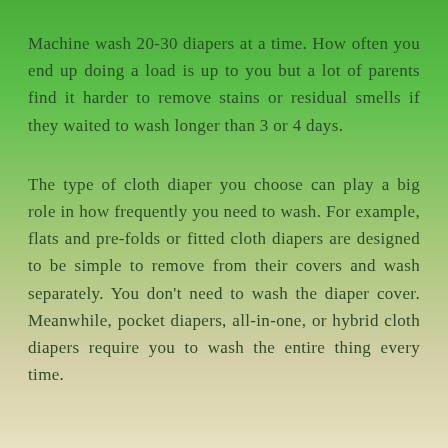Machine wash 20-30 diapers at a time. How often you end up doing a load is up to you but a lot of parents find it harder to remove stains or residual smells if they waited to wash longer than 3 or 4 days.
The type of cloth diaper you choose can play a big role in how frequently you need to wash. For example, flats and pre-folds or fitted cloth diapers are designed to be simple to remove from their covers and wash separately. You don't need to wash the diaper cover. Meanwhile, pocket diapers, all-in-one, or hybrid cloth diapers require you to wash the entire thing every time.